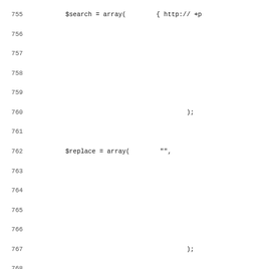[Figure (screenshot): Source code listing showing PHP code lines 755-787, including array operations, preg_replace, return statement, closing brace, and a function comment block for _httprequest followed by function definition start.]